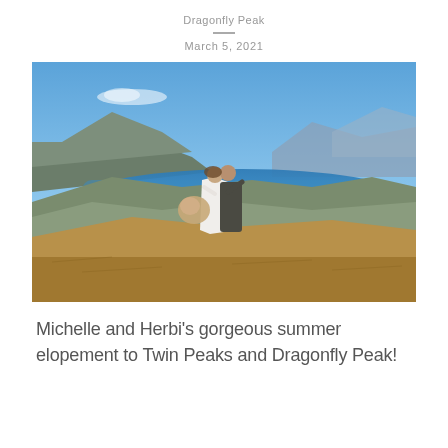Dragonfly Peak
March 5, 2021
[Figure (photo): A couple kissing on a mountain summit with a stunning panoramic view of a blue lake, valleys, and mountain ranges under a clear blue sky. The bride holds a large floral bouquet and wears a white dress; the groom wears a dark suit. Dry golden grass covers the foreground hillside.]
Michelle and Herbi's gorgeous summer elopement to Twin Peaks and Dragonfly Peak!